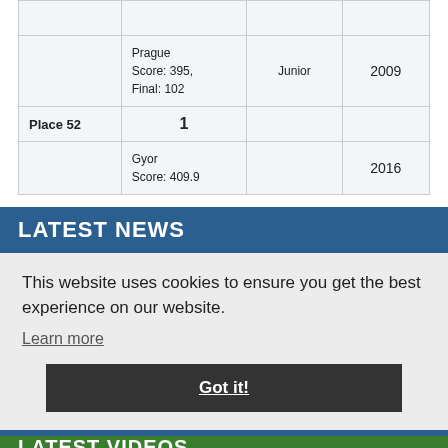|  |  | Category | Year |
| --- | --- | --- | --- |
|  | Prague
Score: 395,
Final: 102 | Junior | 2009 |
| Place 52 | 1 |  |  |
|  | Gyor
Score: 409.9 |  | 2016 |
LATEST NEWS
nation »
This website uses cookies to ensure you get the best experience on our website.
Learn more
Got it!
LATEST VIDEOS